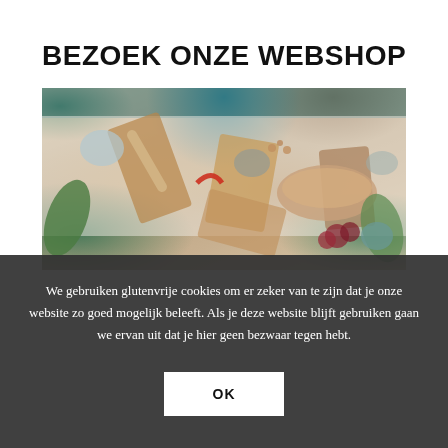BEZOEK ONZE WEBSHOP
[Figure (photo): Top-down flat lay photo of various wooden cutting boards, bowls, fruits, vegetables, bread, nuts, and kitchen utensils arranged on a white surface]
We gebruiken glutenvrije cookies om er zeker van te zijn dat je onze website zo goed mogelijk beleeft. Als je deze website blijft gebruiken gaan we ervan uit dat je hier geen bezwaar tegen hebt.
OK